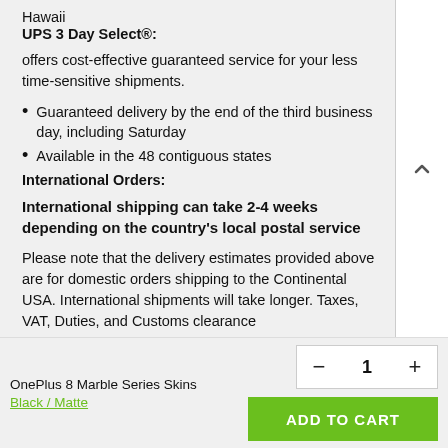Hawaii
UPS 3 Day Select®:
offers cost-effective guaranteed service for your less time-sensitive shipments.
Guaranteed delivery by the end of the third business day, including Saturday
Available in the 48 contiguous states
International Orders:
International shipping can take 2-4 weeks depending on the country's local postal service
Please note that the delivery estimates provided above are for domestic orders shipping to the Continental USA. International shipments will take longer. Taxes, VAT, Duties, and Customs clearance
OnePlus 8 Marble Series Skins
Black / Matte